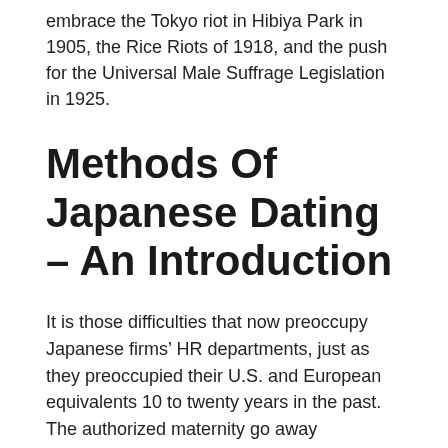embrace the Tokyo riot in Hibiya Park in 1905, the Rice Riots of 1918, and the push for the Universal Male Suffrage Legislation in 1925.
Methods Of Japanese Dating – An Introduction
It is those difficulties that now preoccupy Japanese firms' HR departments, just as they preoccupied their U.S. and European equivalents 10 to twenty years in the past. The authorized maternity go away entitlement in Japan is satisfactory by worldwide standards. But what has been difficult for ladies has been to keep up their place on the profession ladder and, crucially, on the company grown while also